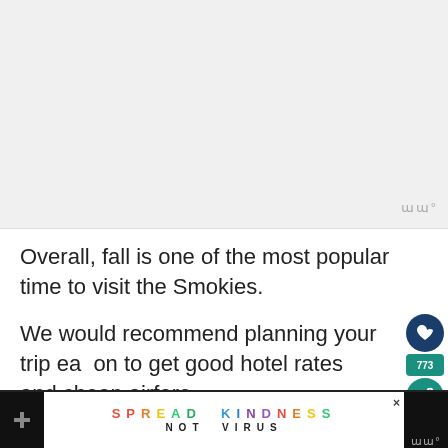[Figure (photo): Placeholder image area at top of page, light gray background]
Overall, fall is one of the most popular time to visit the Smokies.
We would recommend planning your trip early on to get good hotel rates and cheap airfare.
Related USA Fall Travel Posts:
16 Best Things to do in New York in...
Best fall foliage drives in the USA
[Figure (infographic): Bottom advertisement banner: SPREAD KINDNESS NOT VIRUS with colorful letters, flanked by dark panels with Mediavine logo]
[Figure (infographic): What's Next panel showing '16 Best Things to do...' with thumbnail image]
[Figure (infographic): Social sharing sidebar with heart button (dark teal), share count 773, and share button]